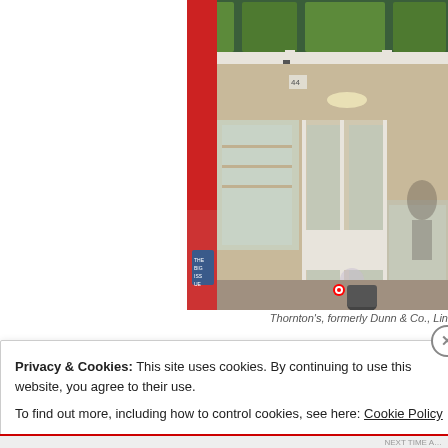[Figure (photo): Exterior photograph of a shop on a street, showing the entrance with open glass doors, cream/white painted facade, display windows with goods, green decorative stained glass panels at the top of the building facade, and a red post box/telephone box partially visible on the left. The shop is identified as Thornton's, formerly Dunn & Co., Lincoln.]
Thornton's, formerly Dunn & Co., Lin
Privacy & Cookies: This site uses cookies. By continuing to use this website, you agree to their use.
To find out more, including how to control cookies, see here: Cookie Policy